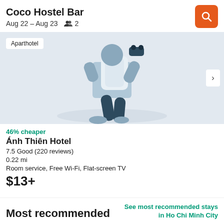Coco Hostel Bar
Aug 22 – Aug 23  👥 2
[Figure (illustration): Illustration of a traveler with a backpack and binoculars on a light blue/grey background. An 'Aparthotel' badge is shown top-left, and a next-arrow chevron on the right side.]
46% cheaper
Ánh Thiên Hotel
7.5 Good (220 reviews)
0.22 mi
Room service, Free Wi-Fi, Flat-screen TV
$13+
Most recommended
See most recommended stays in Ho Chi Minh City